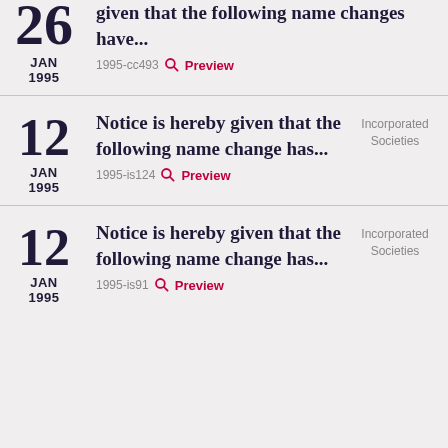26 JAN 1995 — given that the following name changes have... 1995-cc493 Preview
12 JAN 1995 — Notice is hereby given that the following name change has... 1995-is124 Preview — Incorporated Societies
12 JAN 1995 — Notice is hereby given that the following name change has... 1995-is91 Preview — Incorporated Societies